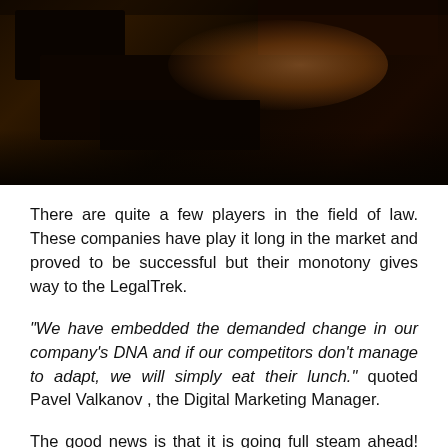[Figure (photo): Dark photo of stacked dark wooden boxes or objects on a table with warm amber/orange lighting in the background]
There are quite a few players in the field of law. These companies have play it long in the market and proved to be successful but their monotony gives way to the LegalTrek.
“We have embedded the demanded change in our company’s DNA and if our competitors don’t manage to adapt, we will simply eat their lunch.” quoted Pavel Valkanov , the Digital Marketing Manager.
The good news is that it is going full steam ahead! There are over six million legal professionals in the world right. Legaltrek is looking forward to serve at